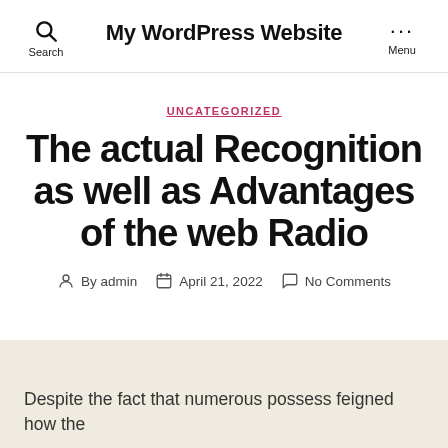My WordPress Website
UNCATEGORIZED
The actual Recognition as well as Advantages of the web Radio
By admin   April 21, 2022   No Comments
Despite the fact that numerous possess feigned how the